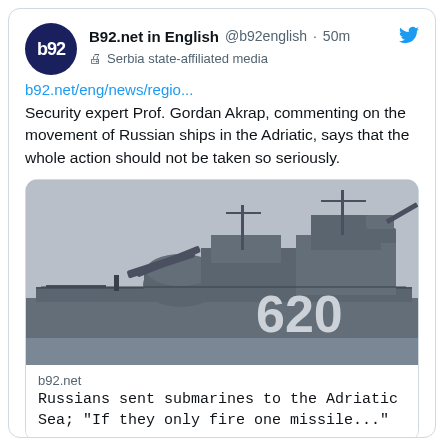[Figure (screenshot): Twitter/X post card from B92.net in English (@b92english), posted 50 minutes ago. Labeled as Serbia state-affiliated media. Contains a link b92.net/eng/news/regio..., tweet text about Security expert Prof. Gordan Akrap commenting on Russian ships in the Adriatic, and an embedded media card showing a photo of a Russian naval warship numbered 620 with the caption: 'Russians sent submarines to the Adriatic Sea; "If they only fire one missile..."']